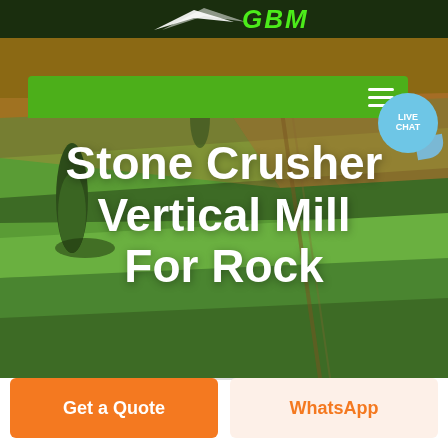[Figure (screenshot): GBM company logo with white arrow/wing icon on dark green background header bar]
[Figure (screenshot): Green navigation bar with white hamburger menu icon and LIVE CHAT bubble in blue]
[Figure (photo): Aerial photo of green and orange/brown agricultural fields with cypress trees as hero background image]
Stone Crusher Vertical Mill For Rock
Get a Quote
WhatsApp